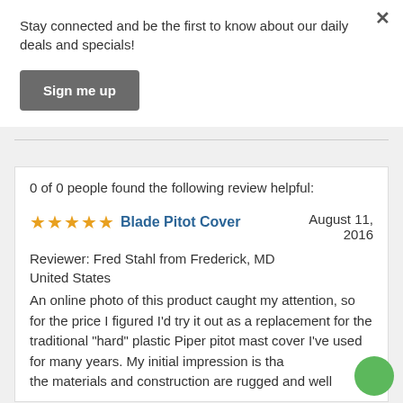Stay connected and be the first to know about our daily deals and specials!
Sign me up
0 of 0 people found the following review helpful:
Blade Pitot Cover
August 11, 2016
Reviewer: Fred Stahl from Frederick, MD United States
An online photo of this product caught my attention, so for the price I figured I'd try it out as a replacement for the traditional "hard" plastic Piper pitot mast cover I've used for many years.  My initial impression is that the materials and construction are rugged and well